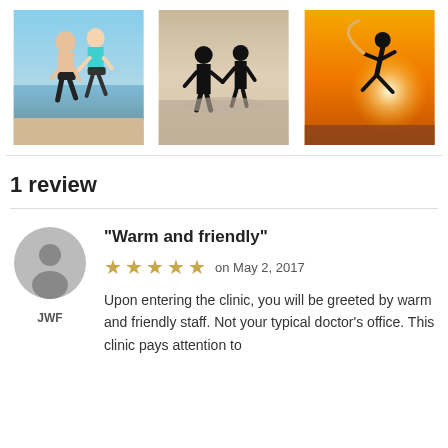[Figure (photo): Three photos: two people running on a beach, couple holding hands in water (silhouette), person jumping at sunset]
1 review
[Figure (illustration): Gray avatar circle icon representing reviewer JWF]
“Warm and friendly”
★★★★★ on May 2, 2017
JWF
Upon entering the clinic, you will be greeted by warm and friendly staff. Not your typical doctor’s office. This clinic pays attention to